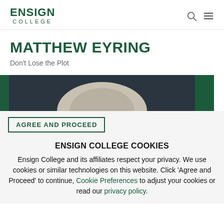ENSIGN COLLEGE
MATTHEW EYRING
Don't Lose the Plot
[Figure (photo): Partial photo of a person with white/grey hair against a dark background, flanked by green squares on left and right edges.]
AGREE AND PROCEED
ENSIGN COLLEGE COOKIES
Ensign College and its affiliates respect your privacy. We use cookies or similar technologies on this website. Click 'Agree and Proceed' to continue, Cookie Preferences to adjust your cookies or read our privacy policy.